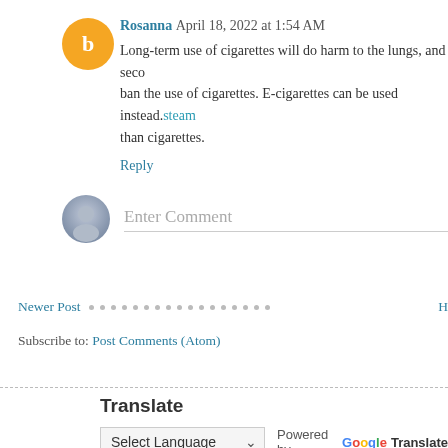Rosanna  April 18, 2022 at 1:54 AM
Long-term use of cigarettes will do harm to the lungs, and seco ban the use of cigarettes. E-cigarettes can be used instead.steam than cigarettes.
Reply
Enter Comment
Newer Post
H
Subscribe to: Post Comments (Atom)
Translate
Select Language  Powered by Google Translate